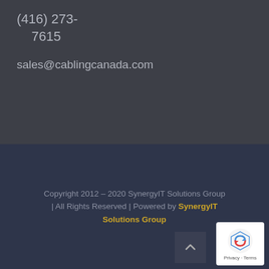(416) 273-7615
sales@cablingcanada.com
Copyright 2012 - 2020 SynergyIT Solutions Group | All Rights Reserved | Powered by SynergyIT Solutions Group